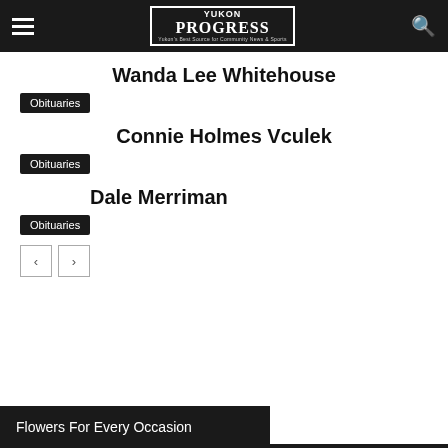Yukon Progress
Wanda Lee Whitehouse
Obituaries
Connie Holmes Vculek
Obituaries
Dale Merriman
Obituaries
Flowers For Every Occasion